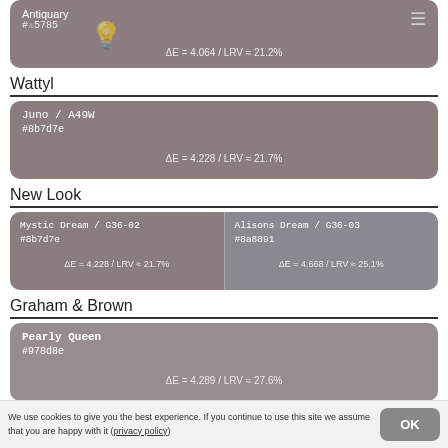[Figure (infographic): Color swatch card for Antiquary paint, hex #857b85, showing ΔE = 4.064 / LRV = 21.2%]
Wattyl
[Figure (infographic): Color swatch card for Juno / A49W paint, hex #8b7d7e, showing ΔE = 4.228 / LRV = 21.7%]
New Look
[Figure (infographic): Two color swatch cards side by side: Mystic Dream / G36-02, #8b7d7e, ΔE = 4.228 / LRV = 21.7% and Alisons Dream / G36-03, #8a8891, ΔE = 4.668 / LRV = 25.1%]
Graham & Brown
[Figure (infographic): Color swatch card for Pearly Queen paint, hex #978d8e, showing ΔE = 4.289 / LRV = 27.6%]
We use cookies to give you the best experience. If you continue to use this site we assume that you are happy with it (privacy policy)